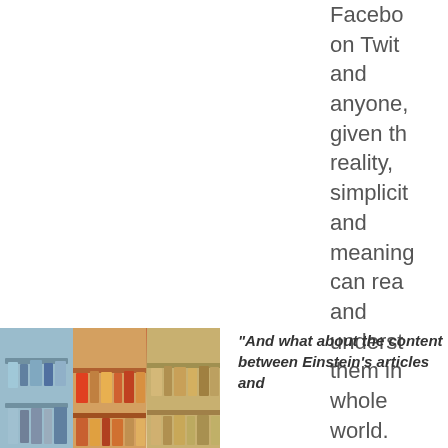Facebook on Twitter and anyone, given the reality, simplicity and meaning can read and understand them in whole world.
[Figure (photo): Strip of three photographs showing bookshelves with books]
"And what about the content between Einstein's articles and